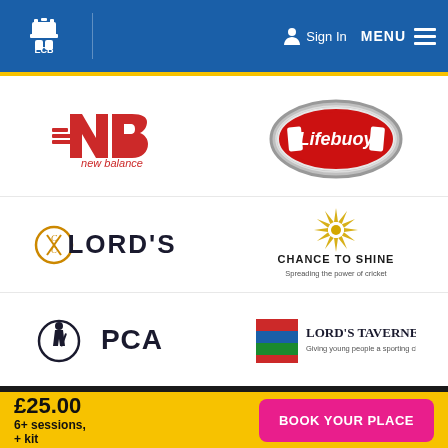ECB | Sign In | MENU
[Figure (logo): New Balance logo - red NB mark with 'new balance' text below in red]
[Figure (logo): Lifebuoy logo - red oval badge with chrome accents]
[Figure (logo): LORD'S cricket ground logo with MCC symbol]
[Figure (logo): Chance To Shine logo - gold starburst with text 'Spreading the power of cricket']
[Figure (logo): PCA logo - Professional Cricketers' Association with cricketer silhouette]
[Figure (logo): Lord's Taverners logo - multicolored stripe block with text 'Giving young people a sporting chance']
£25.00
6+ sessions, + kit
BOOK YOUR PLACE